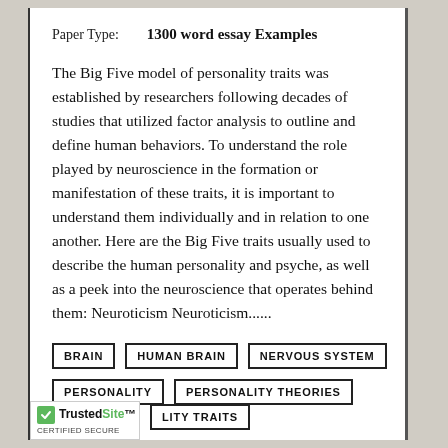Paper Type:    1300 word essay Examples
The Big Five model of personality traits was established by researchers following decades of studies that utilized factor analysis to outline and define human behaviors. To understand the role played by neuroscience in the formation or manifestation of these traits, it is important to understand them individually and in relation to one another. Here are the Big Five traits usually used to describe the human personality and psyche, as well as a peek into the neuroscience that operates behind them: Neuroticism Neuroticism......
BRAIN
HUMAN BRAIN
NERVOUS SYSTEM
PERSONALITY
PERSONALITY THEORIES
PERSONALITY TRAITS